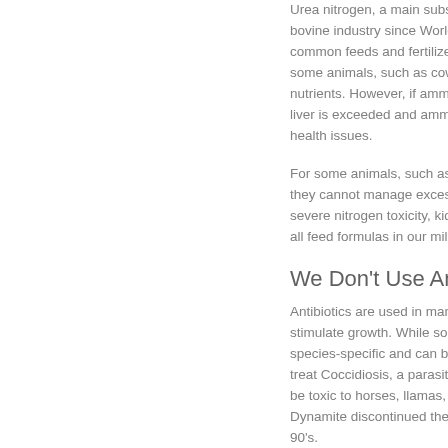Urea nitrogen, a main substance in the bovine industry since World War II, is used in common feeds and fertilizers with a benefit for some animals, such as cows, in the form of nutrients. However, if ammonia escapes the liver is exceeded and ammonia spills, causing health issues.
For some animals, such as horse or others, they cannot manage excess urea. Causing severe nitrogen toxicity, kidney failure, etc. all feed formulas in our mill.
We Don't Use Antibiotics
Antibiotics are used in many types to stimulate growth. While some antibiotics are species-specific and can be toxic to others, treat Coccidiosis, a parasitic disease, can be toxic to horses, llamas, and alpacas. Dynamite discontinued the use of antibiotics in the 90's.
We Don't Use Meat And B
Meat and bone meal with no stated protein derived from the processing...